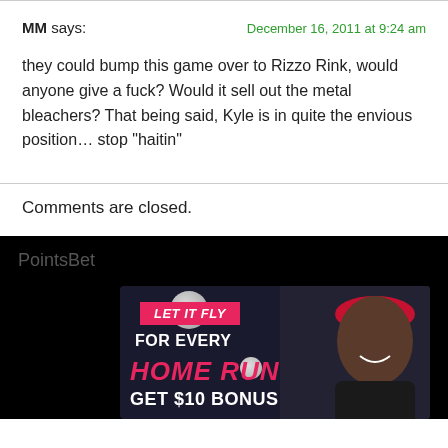MM says: December 16, 2011 at 9:24 am
they could bump this game over to Rizzo Rink, would anyone give a fuck? Would it sell out the metal bleachers? That being said, Kyle is in quite the envious position... stop "haitin"
Comments are closed.
[Figure (photo): PointsBet advertisement banner on black background featuring 'LET IT FLY' badge, text 'FOR EVERY HOME RUN GET $10 BONUS', baseballs, and a person wearing a red headband]